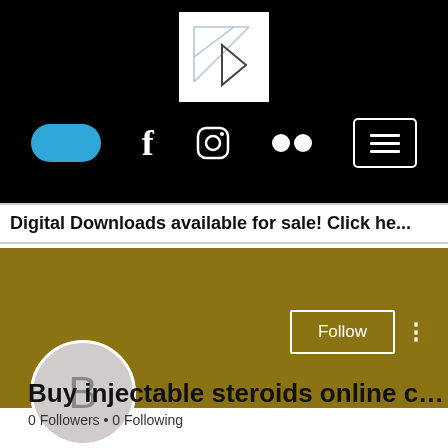[Figure (screenshot): Black header section with white logo box containing geometric triangle/arrow design, blue pill shape, Facebook icon, Instagram icon, Flickr dots, and menu button]
Digital Downloads available for sale! Click he...
[Figure (screenshot): Gold/olive colored profile cover section with Follow button and three-dot menu, circular avatar with letter B]
Buy injectable steroids online c...
0 Followers • 0 Following